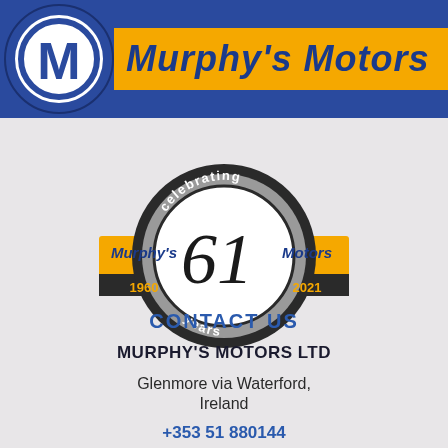[Figure (logo): Murphy's Motors logo banner: blue background with white M in circle on left, yellow bar with italic blue text 'Murphy's Motors' on right]
[Figure (logo): Murphy's Motors 61 years celebrating anniversary badge (1960-2021) with circular emblem showing '61' and yellow ribbon banners reading 'Murphy's' and 'Motors', '1960' and '2021']
CONTACT US
MURPHY'S MOTORS LTD
Glenmore via Waterford, Ireland
+353 51 880144